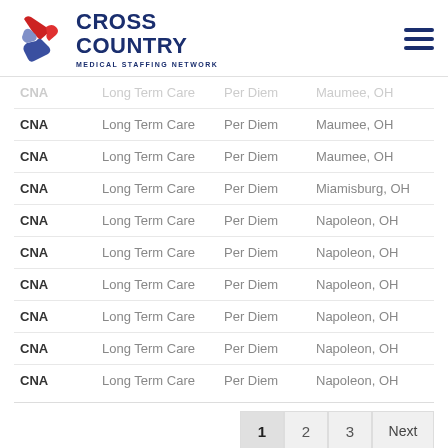[Figure (logo): Cross Country Medical Staffing Network logo with icon and text]
| CNA | Long Term Care | Per Diem | Maumee, OH |
| CNA | Long Term Care | Per Diem | Maumee, OH |
| CNA | Long Term Care | Per Diem | Maumee, OH |
| CNA | Long Term Care | Per Diem | Miamisburg, OH |
| CNA | Long Term Care | Per Diem | Napoleon, OH |
| CNA | Long Term Care | Per Diem | Napoleon, OH |
| CNA | Long Term Care | Per Diem | Napoleon, OH |
| CNA | Long Term Care | Per Diem | Napoleon, OH |
| CNA | Long Term Care | Per Diem | Napoleon, OH |
| CNA | Long Term Care | Per Diem | Napoleon, OH |
1  2  3  Next